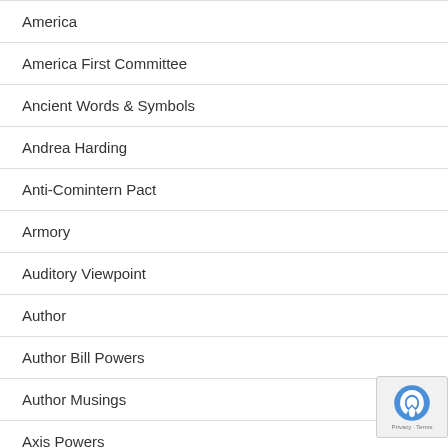America
America First Committee
Ancient Words & Symbols
Andrea Harding
Anti-Comintern Pact
Armory
Auditory Viewpoint
Author
Author Bill Powers
Author Musings
Axis Powers
Baron Rothschild